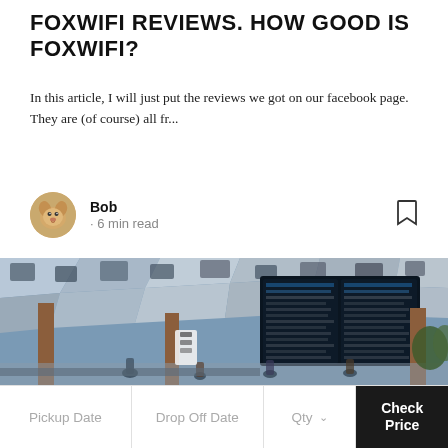FOXWIFI REVIEWS. HOW GOOD IS FOXWIFI?
In this article, I will just put the reviews we got on our facebook page. They are (of course) all fr...
Bob · 6 min read
[Figure (photo): Interior of a busy airport terminal showing large departure/arrival information boards hanging from a modern geometric ceiling, with travelers walking below and wooden pillars visible.]
Pickup Date   Drop Off Date   Qty   Check Price